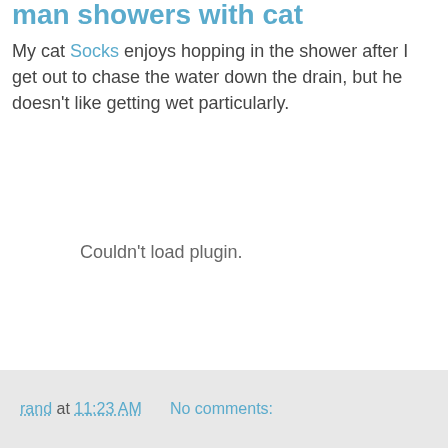man showers with cat
My cat Socks enjoys hopping in the shower after I get out to chase the water down the drain, but he doesn't like getting wet particularly.
Couldn't load plugin.
rand at 11:23 AM    No comments: